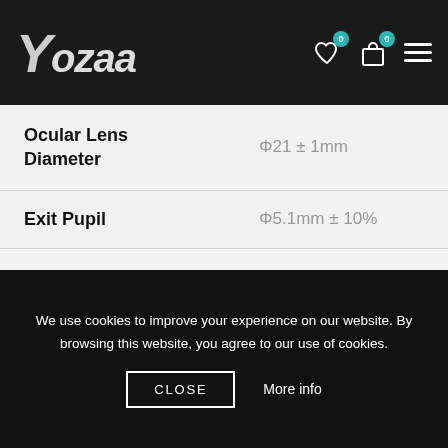Yozaa — navigation header with logo and icons
| Specification | Value |
| --- | --- |
| Ocular Lens Diameter | Φ21 ± 1mm |
| Exit Pupil | Φ5.1mm ± 10% |
| Eye Relief | 17mm |
| Angular Field of View | 7.2° |
We use cookies to improve your experience on our website. By browsing this website, you agree to our use of cookies.
CLOSE    More info